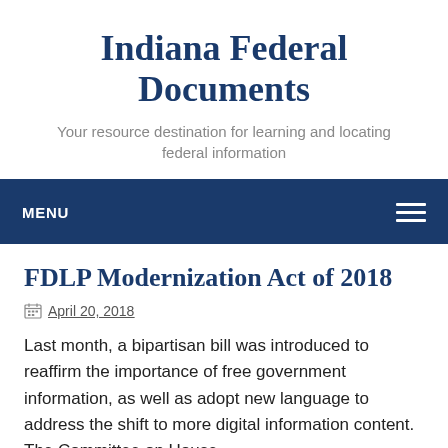Indiana Federal Documents
Your resource destination for learning and locating federal information
MENU
FDLP Modernization Act of 2018
April 20, 2018
Last month, a bipartisan bill was introduced to reaffirm the importance of free government information, as well as adopt new language to address the shift to more digital information content. The Committee on House